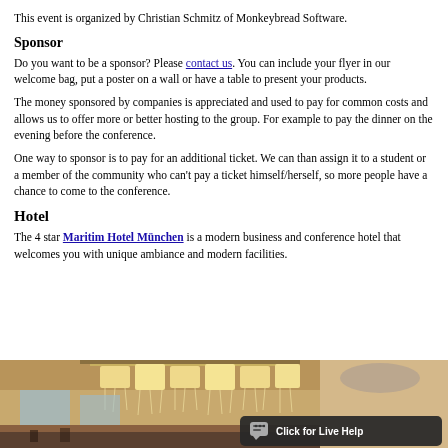This event is organized by Christian Schmitz of Monkeybread Software.
Sponsor
Do you want to be a sponsor? Please contact us. You can include your flyer in our welcome bag, put a poster on a wall or have a table to present your products.
The money sponsored by companies is appreciated and used to pay for common costs and allows us to offer more or better hosting to the group. For example to pay the dinner on the evening before the conference.
One way to sponsor is to pay for an additional ticket. We can than assign it to a student or a member of the community who can't pay a ticket himself/herself, so more people have a chance to come to the conference.
Hotel
The 4 star Maritim Hotel München is a modern business and conference hotel that welcomes you with unique ambiance and modern facilities.
[Figure (photo): Interior photo of the Maritim Hotel München lobby featuring a large ornate crystal chandelier with golden tones, tall windows, and elegant hotel interior. A 'Click for Live Help' chat overlay button is visible in the bottom right corner.]